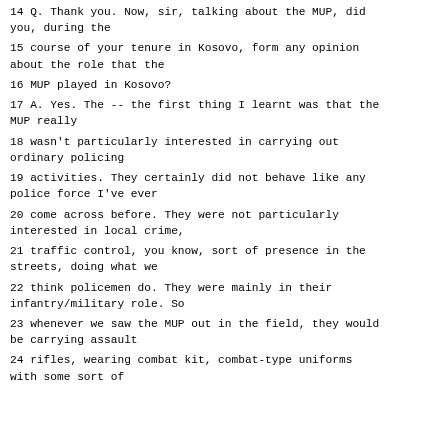14 Q. Thank you. Now, sir, talking about the MUP, did you, during the
15 course of your tenure in Kosovo, form any opinion about the role that the
16 MUP played in Kosovo?
17 A. Yes. The -- the first thing I learnt was that the MUP really
18 wasn't particularly interested in carrying out ordinary policing
19 activities. They certainly did not behave like any police force I've ever
20 come across before. They were not particularly interested in local crime,
21 traffic control, you know, sort of presence in the streets, doing what we
22 think policemen do. They were mainly in their infantry/military role. So
23 whenever we saw the MUP out in the field, they would be carrying assault
24 rifles, wearing combat kit, combat-type uniforms with some sort of